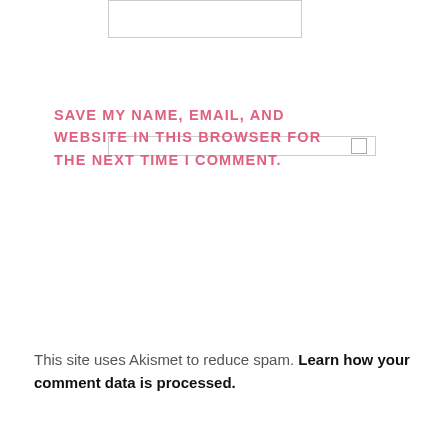[Figure (screenshot): A form input text box (empty, white background with light gray border)]
[Figure (screenshot): A checkbox input row with a small checkbox icon on the right side]
SAVE MY NAME, EMAIL, AND WEBSITE IN THIS BROWSER FOR THE NEXT TIME I COMMENT.
[Figure (screenshot): A black button labeled POST COMMENT in white uppercase letters]
This site uses Akismet to reduce spam. Learn how your comment data is processed.